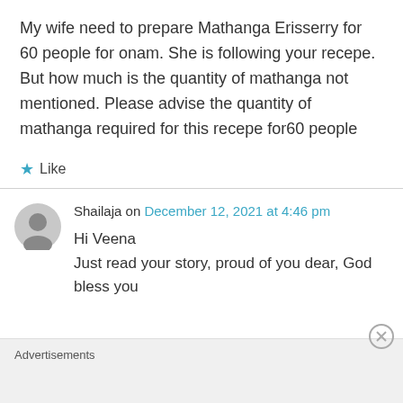My wife need to prepare Mathanga Erisserry for 60 people for onam. She is following your recepe. But how much is the quantity of mathanga not mentioned. Please advise the quantity of mathanga required for this recepe for60 people
Like
Shailaja on December 12, 2021 at 4:46 pm
Hi Veena
Just read your story, proud of you dear, God bless you
Advertisements